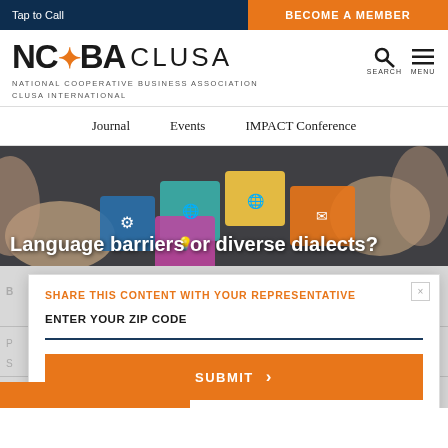Tap to Call | BECOME A MEMBER
[Figure (logo): NCBA CLUSA logo with National Cooperative Business Association CLUSA International tagline, plus search and menu icons]
NATIONAL COOPERATIVE BUSINESS ASSOCIATION CLUSA INTERNATIONAL
Journal   Events   IMPACT Conference
[Figure (photo): Hands assembling colorful puzzle pieces on a table, with icons on the puzzle pieces including globe, gears, and lightbulb]
Language barriers or diverse dialects?
SHARE THIS CONTENT WITH YOUR REPRESENTATIVE
ENTER YOUR ZIP CODE
SUBMIT